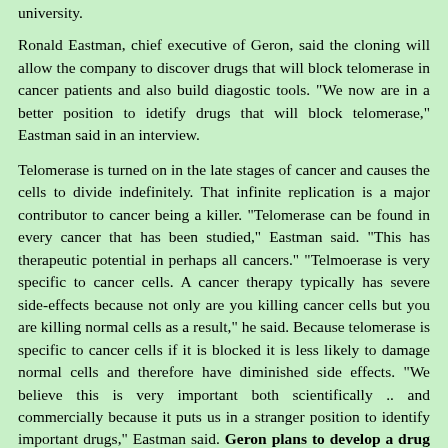university.
Ronald Eastman, chief executive of Geron, said the cloning will allow the company to discover drugs that will block telomerase in cancer patients and also build diagostic tools. "We now are in a better position to idetify drugs that will block telomerase," Eastman said in an interview.
Telomerase is turned on in the late stages of cancer and causes the cells to divide indefinitely. That infinite replication is a major contributor to cancer being a killer. "Telomerase can be found in every cancer that has been studied," Eastman said. "This has therapeutic potential in perhaps all cancers." "Telmoerase is very specific to cancer cells. A cancer therapy typically has severe side-effects because not only are you killing cancer cells but you are killing normal cells as a result," he said. Because telomerase is specific to cancer cells if it is blocked it is less likely to damage normal cells and therefore have diminished side effects. "We believe this is very important both scientifically .. and commercially because it puts us in a stranger position to identify important drugs," Eastman said. Geron plans to develop a drug treatment ready for clinical trials within the one to three years. Then the drug would need to go through the rigours of the regulatory approval process which could take many more years whilst millions of people suffer cancer surgery,. My comment is that people should be offered the choice, and warned that there is a